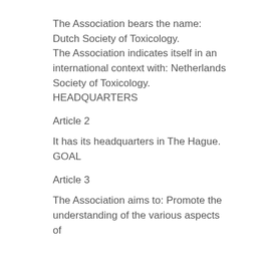The Association bears the name: Dutch Society of Toxicology. The Association indicates itself in an international context with: Netherlands Society of Toxicology.
HEADQUARTERS
Article 2
It has its headquarters in The Hague.
GOAL
Article 3
The Association aims to: Promote the understanding of the various aspects of